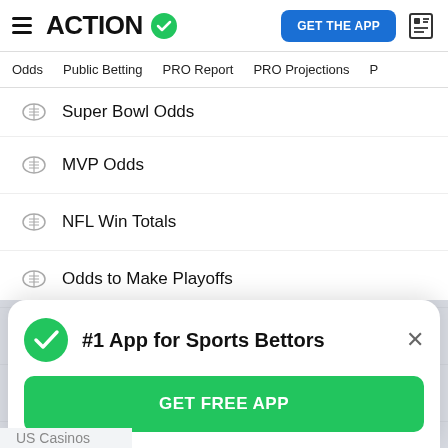ACTION (logo with green checkmark) | GET THE APP
Odds | Public Betting | PRO Report | PRO Projections
Super Bowl Odds
MVP Odds
NFL Win Totals
Odds to Make Playoffs
AFC Championship Odds
NFC Championship Odds
#1 App for Sports Bettors
GET FREE APP
US Casinos